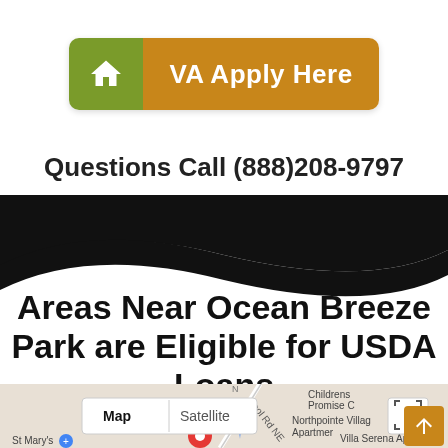[Figure (other): Green and gold button with house icon labeled 'VA Apply Here']
Questions Call (888)208-9797
[Figure (other): Black wave/ribbon decorative divider]
Areas Near Ocean Breeze Park are Eligible for USDA Loans
[Figure (map): Google Maps partial view showing Map/Satellite toggle buttons, roads including School Rd NE, and labels for Childrens Promise C, Northpointe Village Apartments, Villa Serena Apartments, St Mary's with a red location pin]